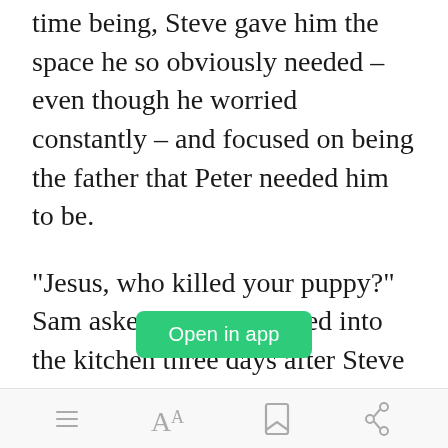time being, Steve gave him the space he so obviously needed – even though he worried constantly – and focused on being the father that Peter needed him to be.
“Jesus, who killed your puppy?” Sam asked as he wandered into the kitchen three days after Steve and Tony's almost kiss.
[Figure (other): Green 'Open in app' button overlay]
“We don’t hah uh puppy, silly,” Peter
Menu | Font size | Bookmark | Share